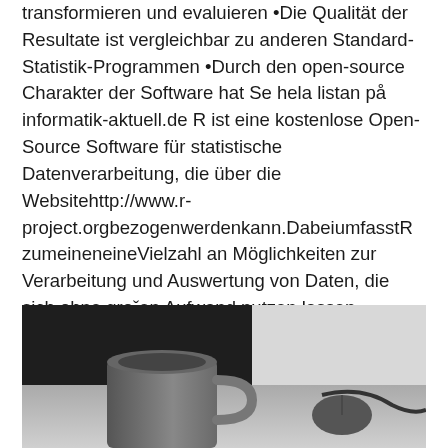transformieren und evaluieren •Die Qualität der Resultate ist vergleichbar zu anderen Standard-Statistik-Programmen •Durch den open-source Charakter der Software hat Se hela listan på informatik-aktuell.de R ist eine kostenlose Open-Source Software für statistische Datenverarbeitung, die über die Websitehttp://www.r-project.orgbezogenwerdenkann.DabeiumfasstR zumeineneineVielzahl an Möglichkeiten zur Verarbeitung und Auswertung von Daten, die sich ohne groˇen Aufwand nutzen lassen.
[Figure (photo): Black and white photo of a coffee mug and what appears to be a computer mouse or similar device on a desk surface, with a dark monitor or screen visible in the background.]